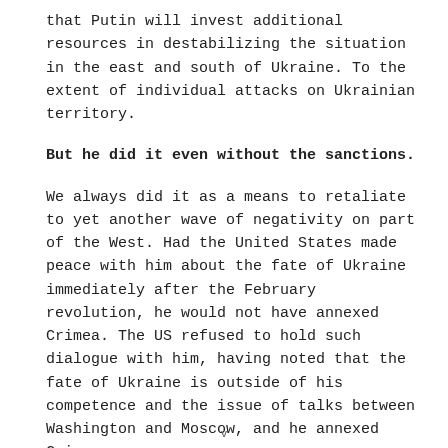that Putin will invest additional resources in destabilizing the situation in the east and south of Ukraine. To the extent of individual attacks on Ukrainian territory.
But he did it even without the sanctions.
We always did it as a means to retaliate to yet another wave of negativity on part of the West. Had the United States made peace with him about the fate of Ukraine immediately after the February revolution, he would not have annexed Crimea. The US refused to hold such dialogue with him, having noted that the fate of Ukraine is outside of his competence and the issue of talks between Washington and Moscow, and he annexed Crimea.
v